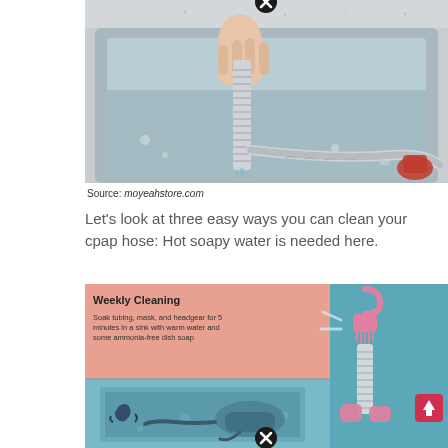[Figure (photo): Photo of a hand holding a flexible corrugated hose over a stainless steel sink with water running and a red object in the background]
Source: moyeahstore.com
Let's look at three easy ways you can clean your cpap hose: Hot soapy water is needed here.
[Figure (infographic): Weekly Cleaning infographic: Left panel (salmon/pink) shows title 'Weekly Cleaning' and text 'Soak tubing, mask, and headgear for 5 minutes in a sink with warm water and some ammonia-free dish soap' with illustration of CPAP mask and tubes submerged in blue water. Right panel (teal/blue) shows illustration of a brush cleaning a CPAP hose with pink mask pieces and an up arrow icon.]